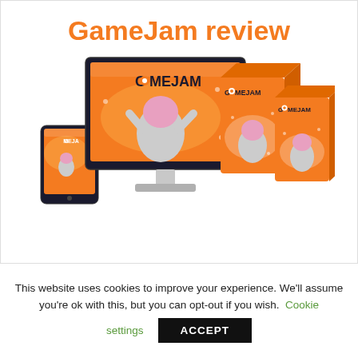GameJam review
[Figure (illustration): Product mockup showing GameJam software on a desktop monitor, tablet, and two product boxes. Orange and white branding with a pink-haired person celebrating.]
This website uses cookies to improve your experience. We'll assume you're ok with this, but you can opt-out if you wish. Cookie settings ACCEPT